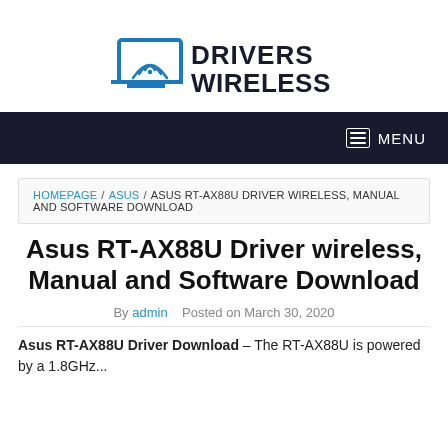[Figure (logo): Drivers Wireless logo with laptop/wifi icon and bold text 'DRIVERS WIRELESS']
MENU
HOMEPAGE / ASUS / ASUS RT-AX88U DRIVER WIRELESS, MANUAL AND SOFTWARE DOWNLOAD
Asus RT-AX88U Driver wireless, Manual and Software Download
By admin   Posted on March 30, 2020
Asus RT-AX88U Driver Download – The RT-AX88U is powered by a 1.8GHz...